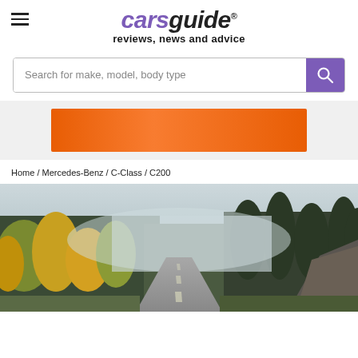carsguide reviews, news and advice
Search for make, model, body type
[Figure (other): Orange advertisement banner]
Home / Mercedes-Benz / C-Class / C200
[Figure (photo): Scenic road winding through an autumn forest with misty mountains in the background]